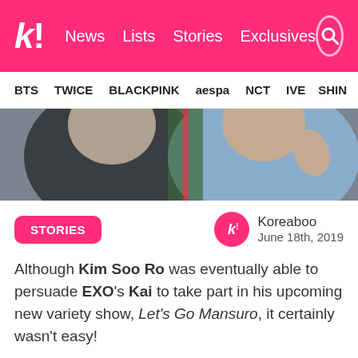k! News  Lists  Stories  Exclusives
BTS  TWICE  BLACKPINK  aespa  NCT  IVE  SHIN...
[Figure (photo): Two people posing for a photo, one in a dark jacket and one in a blue plaid shirt making a hand gesture]
STORIES
Koreaboo
June 18th, 2019
Although Kim Soo Ro was eventually able to persuade EXO's Kai to take part in his upcoming new variety show, Let's Go Mansuro, it certainly wasn't easy!
A few months back, it was first announced that